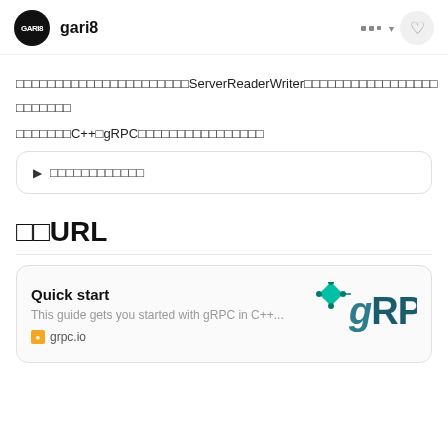gari8
□□□□□□□□□□□□□□□□□□□□□□ServerReaderWriter□□□□□□□□□□□□□□□□□ □□□□□□□□
□□□□□□□C++□gRPC□□□□□□□□□□□□□□□□
▶ □□□□□□□□□□□□
□□URL
Quick start
This guide gets you started with gRPC in C++...
grpc.io